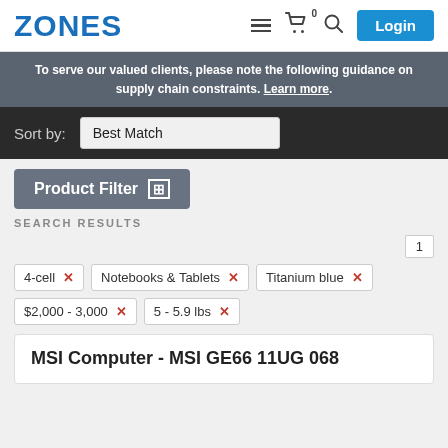ZONES
To serve our valued clients, please note the following guidance on supply chain constraints. Learn more.
Sort by: Best Match
Product Filter
SEARCH RESULTS
1
4-cell ×
Notebooks & Tablets ×
Titanium blue ×
$2,000 - 3,000 ×
5 - 5.9 lbs ×
MSI Computer - MSI GE66 11UG 068